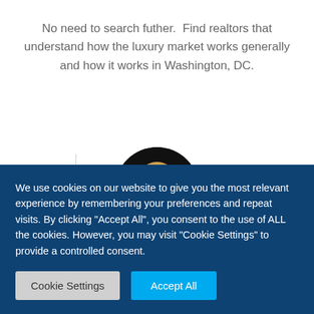No need to search futher.  Find realtors that understand how the luxury market works generally and how it works in Washington, DC.
[Figure (photo): Circular cropped photo of a woman with blonde hair against a dark background, partially visible at the bottom of the upper section.]
We use cookies on our website to give you the most relevant experience by remembering your preferences and repeat visits. By clicking "Accept All", you consent to the use of ALL the cookies. However, you may visit "Cookie Settings" to provide a controlled consent.
Cookie Settings
Accept All